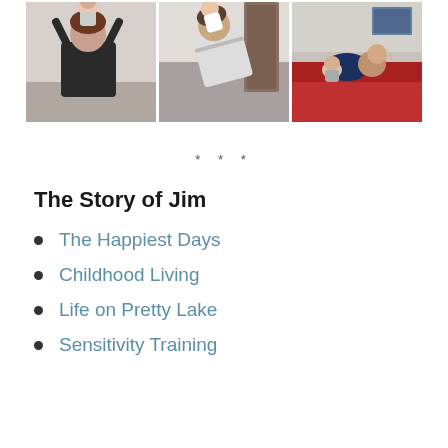[Figure (photo): Three photographs in a row: left shows a man holding a baby above his head, center shows a man holding a toddler upside down or playing, right shows a man lying down with a baby on a red surface.]
* * *
The Story of Jim
The Happiest Days
Childhood Living
Life on Pretty Lake
Sensitivity Training